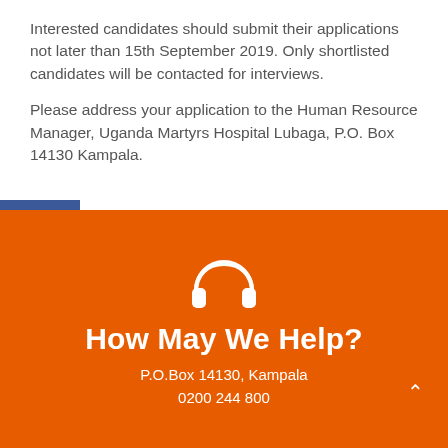Interested candidates should submit their applications not later than 15th September 2019. Only shortlisted candidates will be contacted for interviews.
Please address your application to the Human Resource Manager, Uganda Martyrs Hospital Lubaga, P.O. Box 14130 Kampala.
[Figure (infographic): Orange footer section with headphones icon, heading 'How May We Help?', address P.O.Box 14130, Kampala and phone 0200 244 800]
How May We Help?
P.O.Box 14130, Kampala
0200 244 800